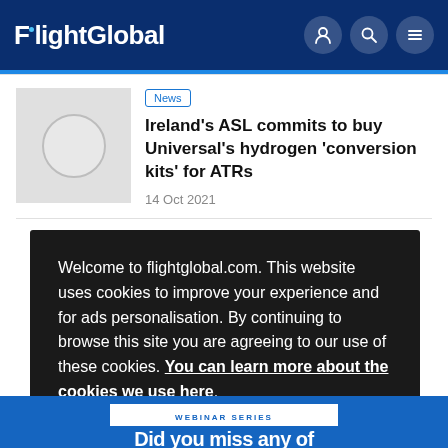FlightGlobal
News
Ireland’s ASL commits to buy Universal’s hydrogen ‘conversion kits’ for ATRs
14 Oct 2021
Welcome to flightglobal.com. This website uses cookies to improve your experience and for ads personalisation. By continuing to browse this site you are agreeing to our use of these cookies. You can learn more about the cookies we use here.
OK
WEBINAR SERIES
Did you miss any of